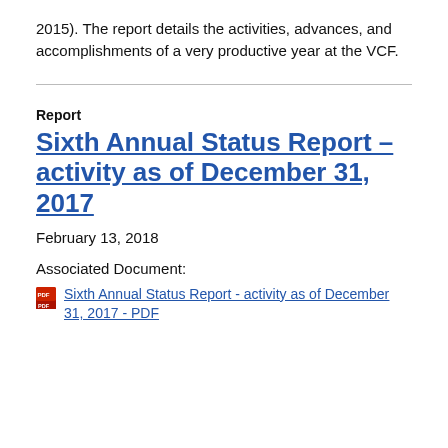2015). The report details the activities, advances, and accomplishments of a very productive year at the VCF.
Report
Sixth Annual Status Report - activity as of December 31, 2017
February 13, 2018
Associated Document:
Sixth Annual Status Report - activity as of December 31, 2017 - PDF